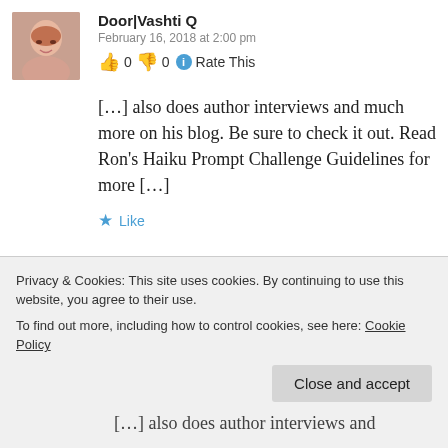[Figure (photo): Avatar photo of Door|Vashti Q, showing a young woman's face, pinkish tone]
Door|Vashti Q
February 16, 2018 at 2:00 pm
👍 0 👎 0 ℹ Rate This
[…] also does author interviews and much more on his blog. Be sure to check it out. Read Ron's Haiku Prompt Challenge Guidelines for more […]
★ Like
[Figure (photo): Avatar photo of second commenter, showing a woman with blonde hair and eye makeup]
Haiku Friday – Zen & Noise | The Writer Next
Privacy & Cookies: This site uses cookies. By continuing to use this website, you agree to their use.
To find out more, including how to control cookies, see here: Cookie Policy
Close and accept
[…] also does author interviews and